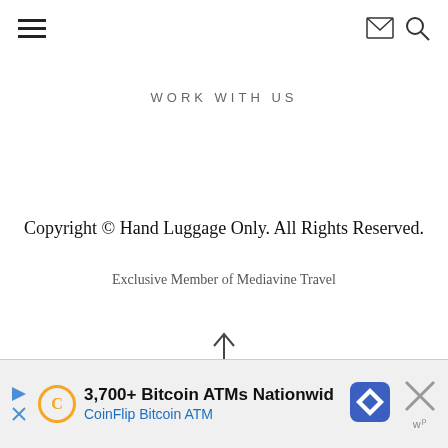[hamburger menu] [mail icon] [search icon]
WORK WITH US
Copyright © Hand Luggage Only. All Rights Reserved.
Exclusive Member of Mediavine Travel
[Figure (illustration): Up arrow icon]
[Figure (infographic): Advertisement banner: 3,700+ Bitcoin ATMs Nationwid / CoinFlip Bitcoin ATM with logos and close button]